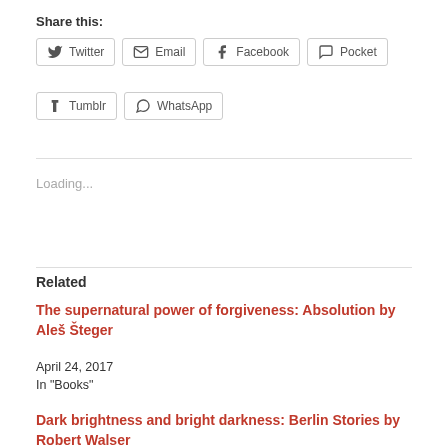Share this:
Twitter
Email
Facebook
Pocket
Tumblr
WhatsApp
Loading...
Related
The supernatural power of forgiveness: Absolution by Aleš Šteger
April 24, 2017
In "Books"
Dark brightness and bright darkness: Berlin Stories by Robert Walser